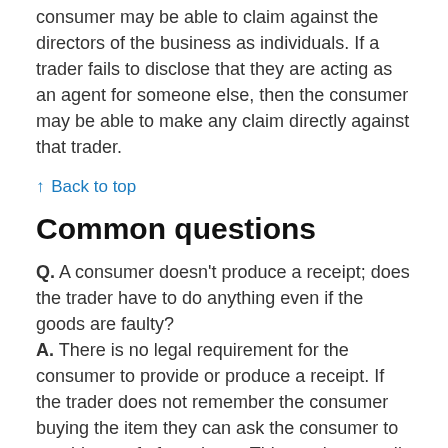consumer may be able to claim against the directors of the business as individuals. If a trader fails to disclose that they are acting as an agent for someone else, then the consumer may be able to make any claim directly against that trader.
↑ Back to top
Common questions
Q. A consumer doesn't produce a receipt; does the trader have to do anything even if the goods are faulty?
A. There is no legal requirement for the consumer to provide or produce a receipt. If the trader does not remember the consumer buying the item they can ask the consumer to provide proof of purchase. This can be a credit card voucher or cheque stub or anything that indicates when and where the item